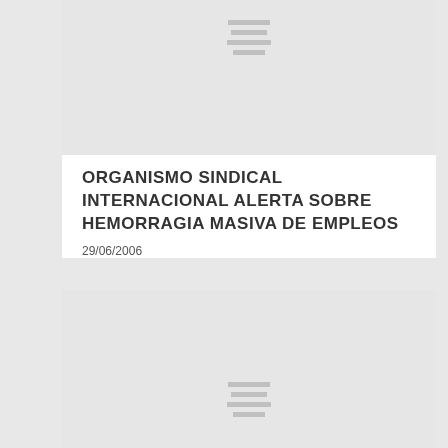[Figure (other): Placeholder image with horizontal lines indicating redacted or hidden content]
ORGANISMO SINDICAL INTERNACIONAL ALERTA SOBRE HEMORRAGIA MASIVA DE EMPLEOS
29/06/2006
[Figure (other): Placeholder image with horizontal lines indicating redacted or hidden content]